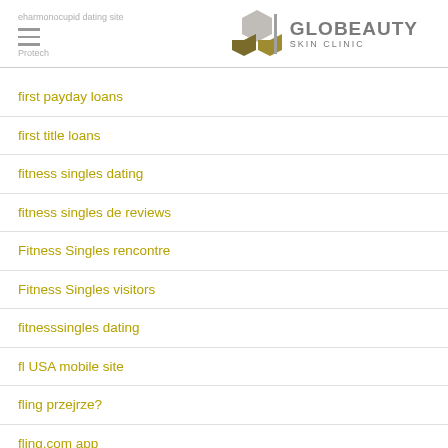Globeauty Skin Clinic
first payday loans
first title loans
fitness singles dating
fitness singles de reviews
Fitness Singles rencontre
Fitness Singles visitors
fitnesssingles dating
fl USA mobile site
fling przejrze?
fling.com app